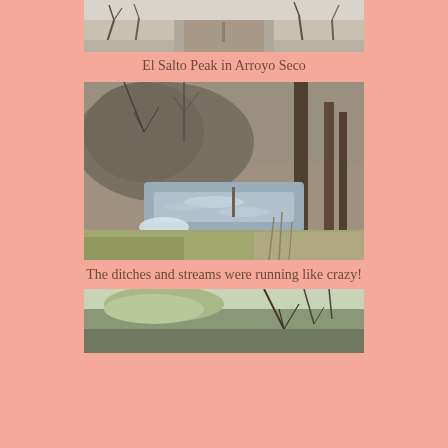[Figure (photo): Partial view of El Salto Peak in Arroyo Seco, showing a road and bare trees in winter]
El Salto Peak in Arroyo Seco
[Figure (photo): A stream or ditch running with water, surrounded by bare trees, shrubs and dry grasses]
The ditches and streams were running like crazy!
[Figure (photo): Bare tree branches and budding trees, partial view at bottom of page]